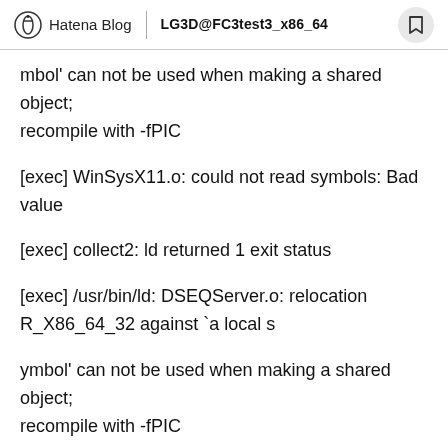Hatena Blog | LG3D@FC3test3_x86_64
mbol' can not be used when making a shared object; recompile with -fPIC
[exec] WinSysX11.o: could not read symbols: Bad value
[exec] collect2: ld returned 1 exit status
[exec] /usr/bin/ld: DSEQServer.o: relocation R_X86_64_32 against `a local s
ymbol' can not be used when making a shared object; recompile with -fPIC
[exec] DSEQServer.o: could not read symbols: Bad value